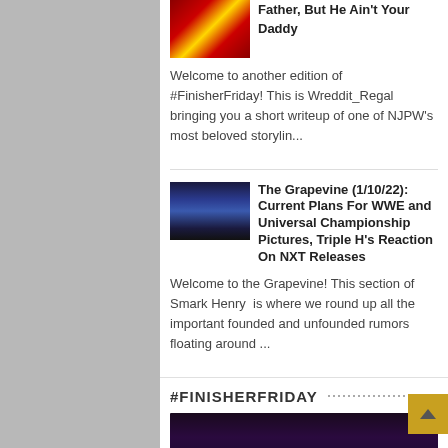Father, But He Ain't Your Daddy
Welcome to another edition of #FinisherFriday! This is Wreddit_Regal bringing you a short writeup of one of NJPW's most beloved storylin...
The Grapevine (1/10/22): Current Plans For WWE and Universal Championship Pictures, Triple H's Reaction On NXT Releases
Welcome to the Grapevine! This section of Smark Henry  is where we round up all the important founded and unfounded rumors floating around ...
#FINISHERFRIDAY
[Figure (photo): Dark/purple-toned image at bottom of page]